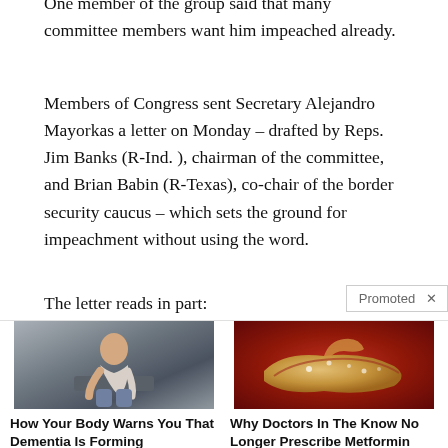One member of the group said that many committee members want him impeached already.
Members of Congress sent Secretary Alejandro Mayorkas a letter on Monday – drafted by Reps. Jim Banks (R-Ind. ), chairman of the committee, and Brian Babin (R-Texas), co-chair of the border security caucus – which sets the ground for impeachment without using the word.
The letter reads in part:
[Figure (infographic): Promoted advertisement section with two ad items: 1) An image of a person sitting on a bed with text 'How Your Body Warns You That Dementia Is Forming' and count 61,471. 2) A medical image of what appears to be a pancreas with text 'Why Doctors In The Know No Longer Prescribe Metformin' and count 115,276.]